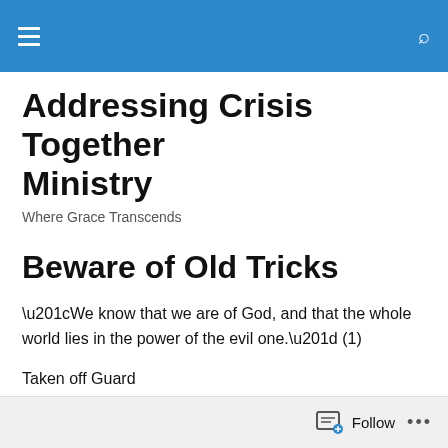[Navigation bar with hamburger menu and search icon]
Addressing Crisis Together Ministry
Where Grace Transcends
Beware of Old Tricks
“We know that we are of God, and that the whole world lies in the power of the evil one.” (1)
Taken off Guard
Unexpected disturbances frustrate life. They can really
Follow ...